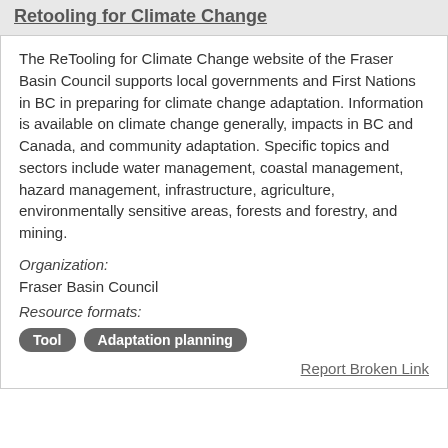Retooling for Climate Change
The ReTooling for Climate Change website of the Fraser Basin Council supports local governments and First Nations in BC in preparing for climate change adaptation. Information is available on climate change generally, impacts in BC and Canada, and community adaptation. Specific topics and sectors include water management, coastal management, hazard management, infrastructure, agriculture, environmentally sensitive areas, forests and forestry, and mining.
Organization:
Fraser Basin Council
Resource formats:
Tool   Adaptation planning
Report Broken Link